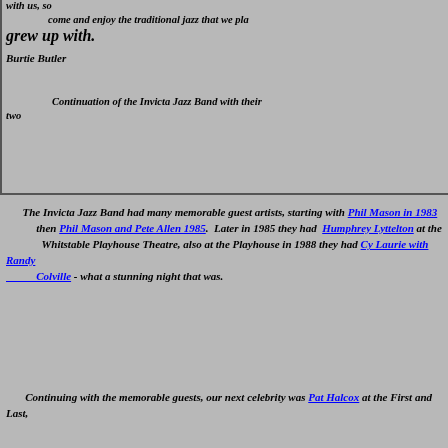with us, so come and enjoy the traditional jazz that we played and grew up with.
Burtie Butler
Continuation of the Invicta Jazz Band with their two
The Invicta Jazz Band had many memorable guest artists, starting with Phil Mason in 1983 then Phil Mason and Pete Allen 1985. Later in 1985 they had Humphrey Lyttelton at the Whitstable Playhouse Theatre, also at the Playhouse in 1988 they had Cy Laurie with Randy Colville - what a stunning night that was.
Continuing with the memorable guests, our next celebrity was Pat Halcox at the First and Last,